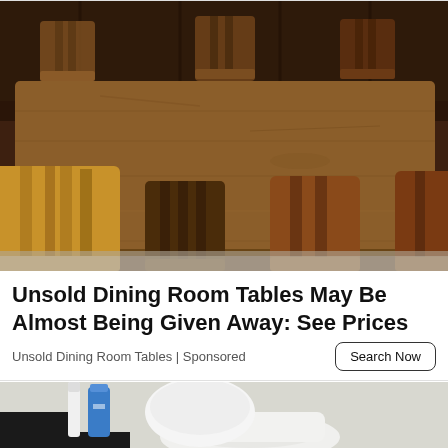[Figure (photo): Overhead view of a rustic wooden dining table with several mismatched wooden chairs arranged around it, set in a room with dark wood-paneled walls and a tiled floor.]
Unsold Dining Room Tables May Be Almost Being Given Away: See Prices
Unsold Dining Room Tables | Sponsored
[Figure (photo): Partial view of a bathroom scene with a toilet and cleaning supplies, white toilet bowl visible.]